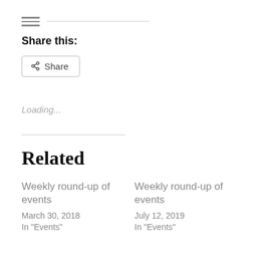Share this:
Share
Loading...
Related
Weekly round-up of events
March 30, 2018
In "Events"
Weekly round-up of events
July 12, 2019
In "Events"